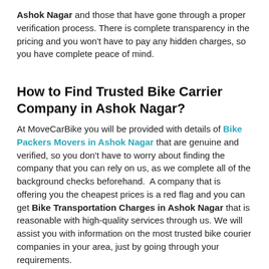Ashok Nagar and those that have gone through a proper verification process. There is complete transparency in the pricing and you won't have to pay any hidden charges, so you have complete peace of mind.
How to Find Trusted Bike Carrier Company in Ashok Nagar?
At MoveCarBike you will be provided with details of Bike Packers Movers in Ashok Nagar that are genuine and verified, so you don't have to worry about finding the company that you can rely on us, as we complete all of the background checks beforehand. A company that is offering you the cheapest prices is a red flag and you can get Bike Transportation Charges in Ashok Nagar that is reasonable with high-quality services through us. We will assist you with information on the most trusted bike courier companies in your area, just by going through your requirements.
Customer Frequently Asked Question for Bike